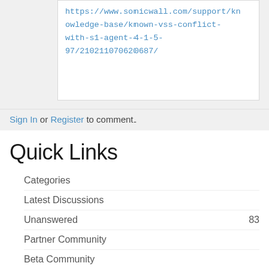https://www.sonicwall.com/support/knowledge-base/known-vss-conflict-with-s1-agent-4-1-5-97/210211070620687/
Sign In or Register to comment.
Quick Links
Categories
Latest Discussions
Unanswered 83
Partner Community
Beta Community
Best Of...